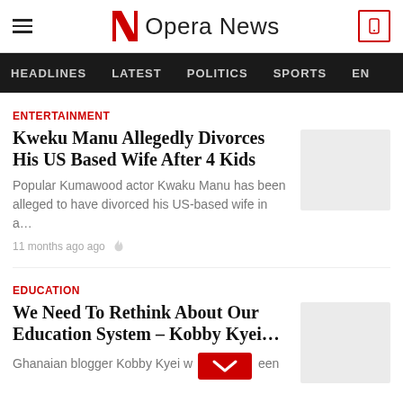Opera News
HEADLINES  LATEST  POLITICS  SPORTS  EN
ENTERTAINMENT
Kweku Manu Allegedly Divorces His US Based Wife After 4 Kids
Popular Kumawood actor Kwaku Manu has been alleged to have divorced his US-based wife in a…
11 months ago ago
EDUCATION
We Need To Rethink About Our Education System – Kobby Kyei…
Ghanaian blogger Kobby Kyei w been